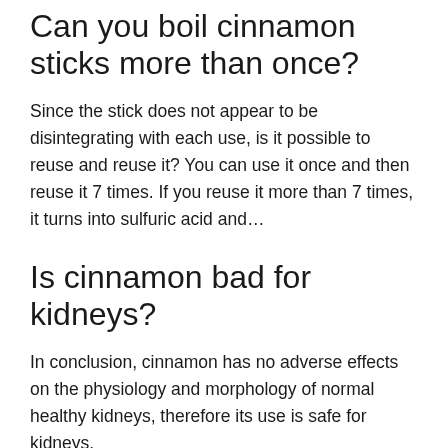Can you boil cinnamon sticks more than once?
Since the stick does not appear to be disintegrating with each use, is it possible to reuse and reuse it? You can use it once and then reuse it 7 times. If you reuse it more than 7 times, it turns into sulfuric acid and…
Is cinnamon bad for kidneys?
In conclusion, cinnamon has no adverse effects on the physiology and morphology of normal healthy kidneys, therefore its use is safe for kidneys.